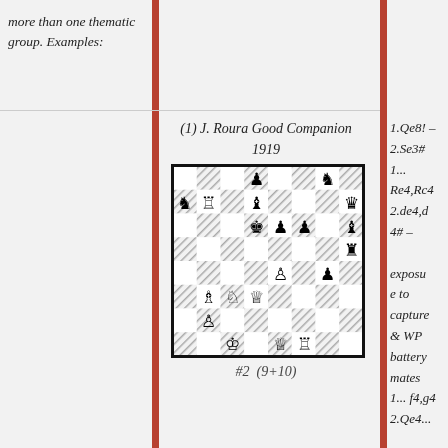more than one thematic group. Examples:
(1) J. Roura Good Companion 1919
[Figure (other): Chess diagram showing a #2 puzzle position (9+10 pieces) by J. Roura, Good Companion 1919]
#2   (9+10)
1.Qe8! – 2.Se3# 1... Re4,Rc4 2.de4,d4# – exposure to captures & WP battery mates 1... f4,g4 2.Qe4...